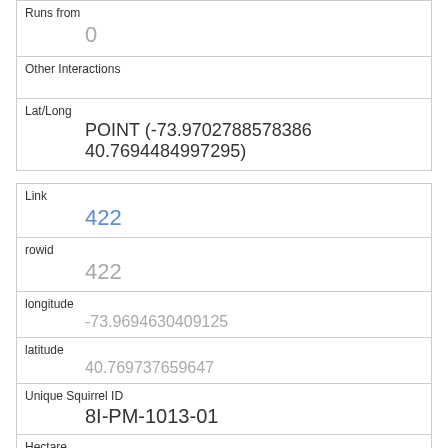| Runs from | 0 |
| Other Interactions |  |
| Lat/Long | POINT (-73.9702788578386 40.7694484997295) |
| Link | 422 |
| rowid | 422 |
| longitude | -73.9694630409125 |
| latitude | 40.769737659647 |
| Unique Squirrel ID | 8I-PM-1013-01 |
| Hectare | 08I |
| Shift | PM |